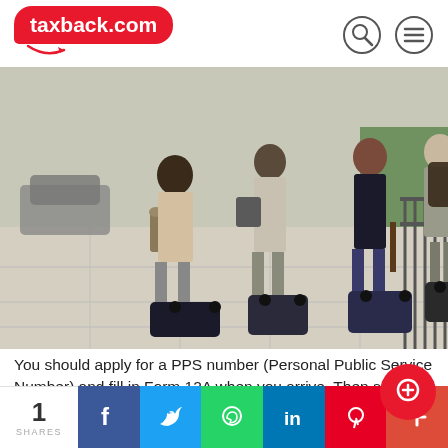taxback.com
[Figure (photo): Four people walking away from the camera on a city pavement, each pulling rolling luggage suitcases. Trees and a metal fence line the right side of the path.]
You should apply for a PPS number (Personal Public Service Number) and fill in Form 12A when you arrive. Then send this to Revenue (the tax authority) so you can get a tax credit certificate before you start working.
1 SHARES | Facebook | Twitter | WhatsApp | LinkedIn | Pinterest | +